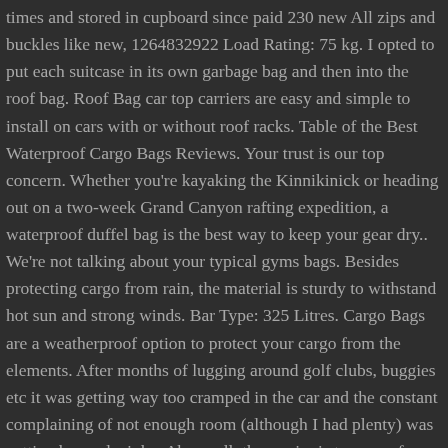times and stored in cupboard since paid 230 new All zips and buckles like new, 1264832922 Load Rating: 75 kg. I opted to put each suitcase in its own garbage bag and then into the roof bag. Roof Bag car top carriers are easy and simple to install on cars with or without roof racks. Table of the Best Waterproof Cargo Bags Reviews. Your trust is our top concern. Whether you're kayaking the Kinnikinick or heading out on a two-week Grand Canyon rafting expedition, a waterproof duffel bag is the best way to keep your gear dry.. We're not talking about your typical gyms bags. Besides protecting cargo from rain, the material is sturdy to withstand hot sun and strong winds. Bar Type: 325 Litres. Cargo Bags are a weatherproof option to protect your cargo from the elements. After months of lugging around golf clubs, buggies etc it was getting way too cramped in the car and the constant complaining of not enough room (although I had plenty) was getting beyond a joke. Above all, the carrier is tear-proof, abrasion-resistant, resistant to extreme heat and cold, immune to the sun's UV rays, and fire-retardant. Use Current Location. Cargo Bags have several options available to suit your needs including roof top bags designed to fit in our line of roof top mounted carriers and cargo carrier bags that fit in our hitch mounted